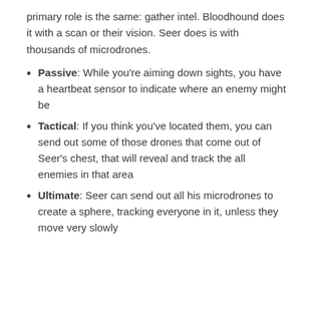primary role is the same: gather intel. Bloodhound does it with a scan or their vision. Seer does is with thousands of microdrones.
Passive: While you're aiming down sights, you have a heartbeat sensor to indicate where an enemy might be
Tactical: If you think you've located them, you can send out some of those drones that come out of Seer's chest, that will reveal and track the all enemies in that area
Ultimate: Seer can send out all his microdrones to create a sphere, tracking everyone in it, unless they move very slowly